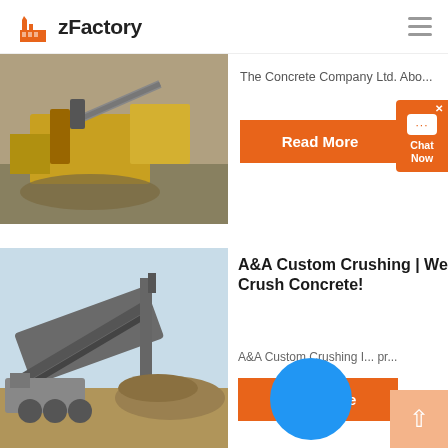zFactory
[Figure (photo): Construction machinery / excavator at work site, yellow equipment]
The Concrete Company Ltd. Abo...
Read More
[Figure (photo): Mobile concrete crusher / screening machine at outdoor work site]
A&A Custom Crushing | We Crush Concrete!
A&A Custom Crushing I... pr...
Read More